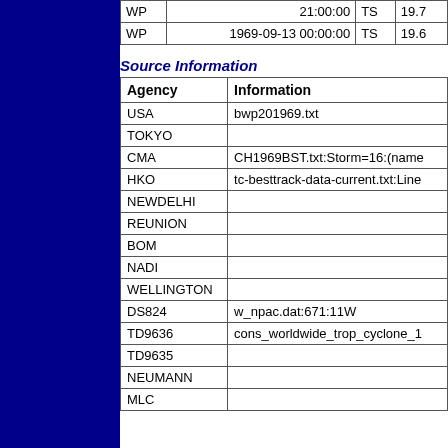| WP |  | TS |  |
| --- | --- | --- | --- |
| WP | 21:00:00 | TS | 19.7 |
| WP | 1969-09-13 00:00:00 | TS | 19.6 |
Source Information
| Agency | Information |
| --- | --- |
| USA | bwp201969.txt |
| TOKYO |  |
| CMA | CH1969BST.txt:Storm=16:(name |
| HKO | tc-besttrack-data-current.txt:Line |
| NEWDELHI |  |
| REUNION |  |
| BOM |  |
| NADI |  |
| WELLINGTON |  |
| DS824 | w_npac.dat:671:11W |
| TD9636 | cons_worldwide_trop_cyclone_1 |
| TD9635 |  |
| NEUMANN |  |
| MLC |  |